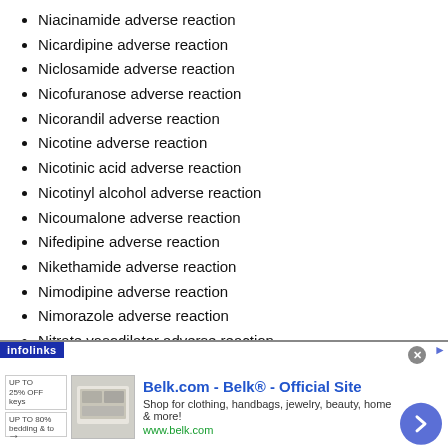Niacinamide adverse reaction
Nicardipine adverse reaction
Niclosamide adverse reaction
Nicofuranose adverse reaction
Nicorandil adverse reaction
Nicotine adverse reaction
Nicotinic acid adverse reaction
Nicotinyl alcohol adverse reaction
Nicoumalone adverse reaction
Nifedipine adverse reaction
Nikethamide adverse reaction
Nimodipine adverse reaction
Nimorazole adverse reaction
Nitrate vasodilator adverse reaction
Nitrazepam adverse reaction
Nitrofurantoin adverse reaction
[Figure (screenshot): Advertisement banner for Belk.com with infolinks badge, showing 'Belk.com - Belk® - Official Site', 'Shop for clothing, handbags, jewelry, beauty, home & more!', 'www.belk.com', product thumbnail, and promotional boxes.]